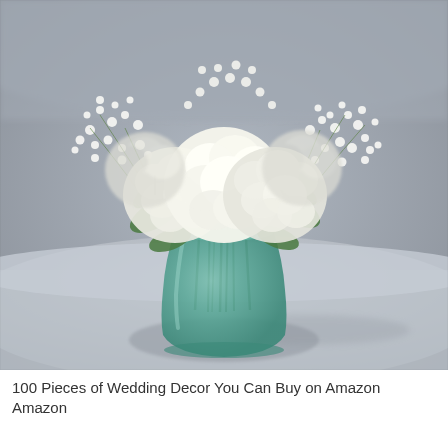[Figure (photo): A bouquet of white hydrangeas and baby's breath arranged in a small green glass vase, placed on a gray surface with soft background blur.]
100 Pieces of Wedding Decor You Can Buy on Amazon
Amazon